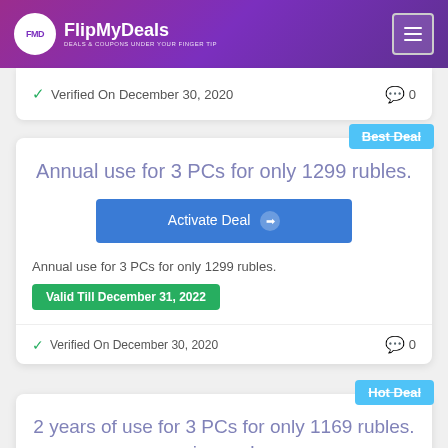FlipMyDeals - DEALS & COUPONS UNDER YOUR FINGER TIP
✓ Verified On December 30, 2020   💬 0
Annual use for 3 PCs for only 1299 rubles.
Activate Deal
Annual use for 3 PCs for only 1299 rubles.
Valid Till December 31, 2022
✓ Verified On December 30, 2020   💬 0
2 years of use for 3 PCs for only 1169 rubles. in year!